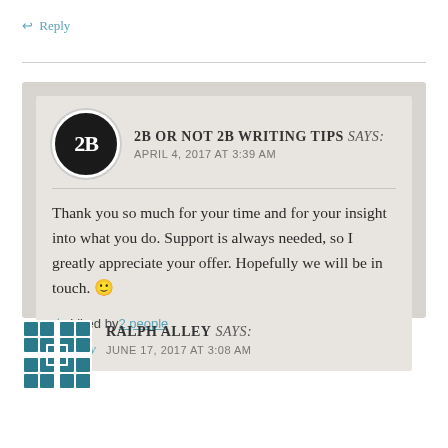↩ Reply
2B OR NOT 2B WRITING TIPS says: APRIL 4, 2017 AT 3:39 AM
Thank you so much for your time and for your insight into what you do. Support is always needed, so I greatly appreciate your offer. Hopefully we will be in touch. 🙂
★ Liked by 2 people
↩ Reply
RALPH ALLEY says: JUNE 17, 2017 AT 3:08 AM